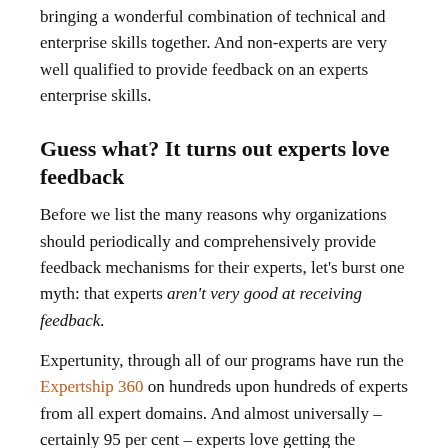bringing a wonderful combination of technical and enterprise skills together. And non-experts are very well qualified to provide feedback on an experts enterprise skills.
Guess what? It turns out experts love feedback
Before we list the many reasons why organizations should periodically and comprehensively provide feedback mechanisms for their experts, let's burst one myth: that experts aren't very good at receiving feedback.
Expertunity, through all of our programs have run the Expertship 360 on hundreds upon hundreds of experts from all expert domains. And almost universally – certainly 95 per cent – experts love getting the feedback.
Remember, when we run an Expertship 360 on experts it is usually the first time they have had properly structured feedback on their overall performance (technical skills and enterprise skills). Amongst the usual trepidation